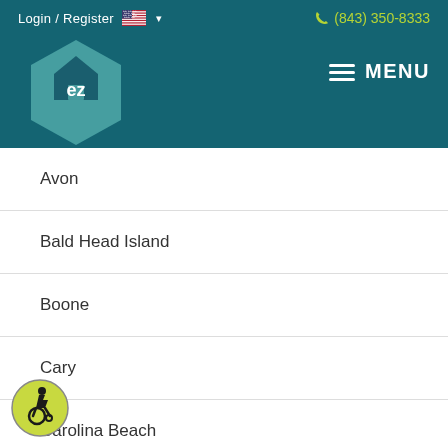Login / Register  (843) 350-8333
[Figure (logo): EZ home logo hexagon in teal with 'ez' text and house silhouette, plus hamburger MENU button]
Avon
Bald Head Island
Boone
Cary
Carolina Beach
Chapel Hill
Charlotte
Duck
[Figure (illustration): Accessibility wheelchair user icon in yellow-green circle]